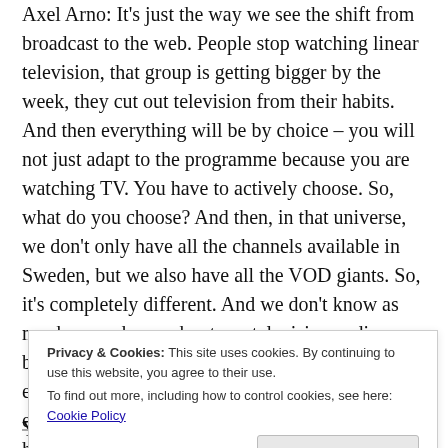Axel Arno: It's just the way we see the shift from broadcast to the web. People stop watching linear television, that group is getting bigger by the week, they cut out television from their habits. And then everything will be by choice – you will not just adapt to the programme because you are watching TV. You have to actively choose. So, what do you choose? And then, in that universe, we don't only have all the channels available in Sweden, but we also have all the VOD giants. So, it's completely different. And we don't know as much as we know about our television audience, because the television measuring system is very easy to work with, and then we know pretty much everything about these families. On the internet, how can you get the same depth of information for people sitting in front of a computer? We don't. Not yet. But I am told t
Privacy & Cookies: This site uses cookies. By continuing to use this website, you agree to their use.
To find out more, including how to control cookies, see here: Cookie Policy
Close and accept
You hear it all the time: I don't watch television.